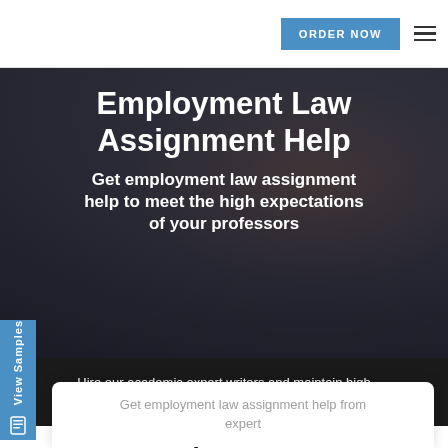ORDER NOW
Employment Law Assignment Help
Get employment law assignment help to meet the high expectations of your professors
Hire our academic expert writers and maintain high grades
[Figure (screenshot): Blue vertical side tab with 'View Samples' text rotated vertically and a shield/book icon]
Get employment law assignment help from expert
Employment Law Assignment Help